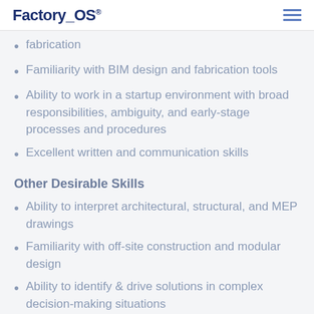Factory_OS®
fabrication
Familiarity with BIM design and fabrication tools
Ability to work in a startup environment with broad responsibilities, ambiguity, and early-stage processes and procedures
Excellent written and communication skills
Other Desirable Skills
Ability to interpret architectural, structural, and MEP drawings
Familiarity with off-site construction and modular design
Ability to identify & drive solutions in complex decision-making situations